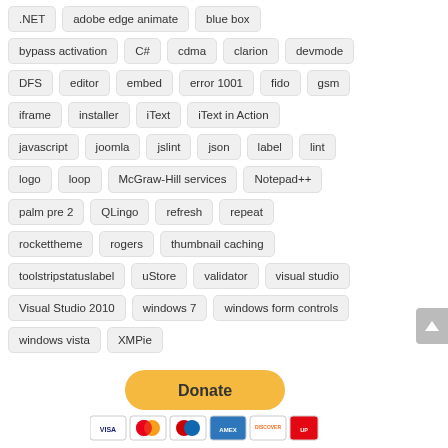.NET
adobe edge animate
blue box
bypass activation
C#
cdma
clarion
devmode
DFS
editor
embed
error 1001
fido
gsm
iframe
installer
iText
iText in Action
javascript
joomla
jslint
json
label
lint
logo
loop
McGraw-Hill services
Notepad++
palm pre 2
QLingo
refresh
repeat
rockettheme
rogers
thumbnail caching
toolstripstatuslabel
uStore
validator
visual studio
Visual Studio 2010
windows 7
windows form controls
windows vista
XMPie
[Figure (other): Donate button with PayPal and payment card icons (Visa, Mastercard, American Express, Discover, UnionPay)]